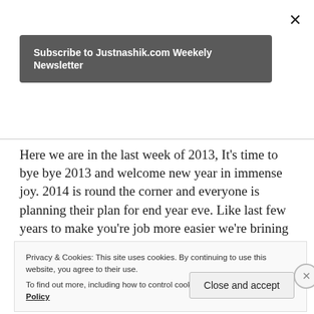×
Subscribe to Justnashik.com Weekely Newsletter
Here we are in the last week of 2013, It's time to bye bye 2013 and welcome new year in immense joy. 2014 is round the corner and everyone is planning their plan for end year eve. Like last few years to make you're job more easier we're brining some of the best events to celebrate 2013 eve in nashik. Our list of new year ...
Continue reading
Privacy & Cookies: This site uses cookies. By continuing to use this website, you agree to their use.
To find out more, including how to control cookies, see here: Cookie Policy
Close and accept